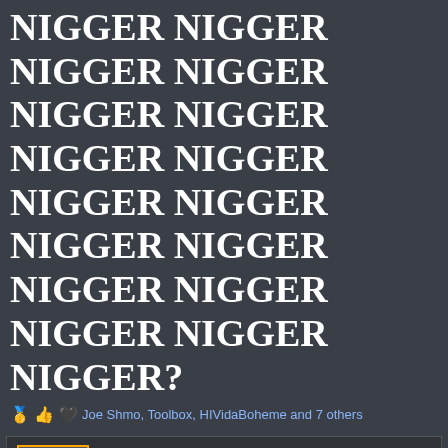NIGGER NIGGER NIGGER NIGGER NIGGER NIGGER NIGGER NIGGER NIGGER NIGGER NIGGER NIGGER NIGGER NIGGER NIGGER NIGGER NIGGER?
Joe Shmo, Toolbox, HIVidaBoheme and 7 others
lottalove
tuff
kiwifarms.net
Dec 12, 2021
#8
Are you 22?
Frank D'arbo
Frank D'arbo
YOU'RE GONNA MAKE IT AFTER ALL!
kiwifarms.net